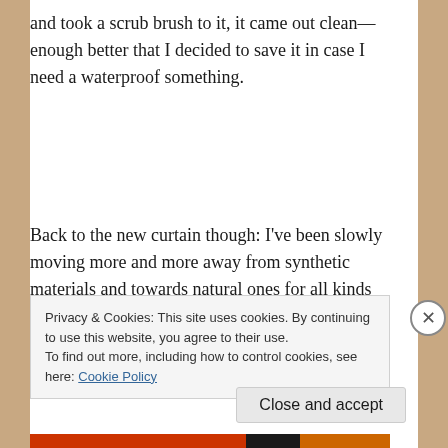and took a scrub brush to it, it came out clean—enough better that I decided to save it in case I need a waterproof something.
Back to the new curtain though: I've been slowly moving more and more away from synthetic materials and towards natural ones for all kinds of reasons. I got another push that way when I
Privacy & Cookies: This site uses cookies. By continuing to use this website, you agree to their use.
To find out more, including how to control cookies, see here: Cookie Policy
Close and accept